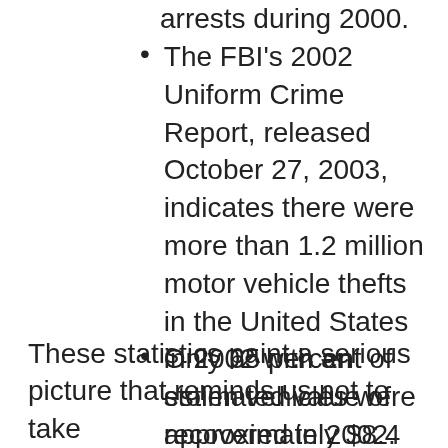arrests during 2000.
The FBI's 2002 Uniform Crime Report, released October 27, 2003, indicates there were more than 1.2 million motor vehicle thefts in the United States in 2002 with an estimated value of approximately $8.4 billion dollars.
Only 65 percent of stolen vehicles were recovered in 2002.
These statistics paint a serious picture that reminds us not to take